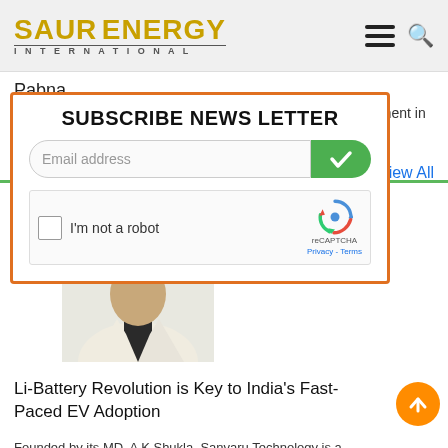SAUR ENERGY INTERNATIONAL
Pabna
Giving a reasonable push to the renewable energy development in the country, the Bangladesh Power
[Figure (screenshot): Newsletter subscription modal with orange border, email input field, green submit button with checkmark, and reCAPTCHA widget]
View All
[Figure (photo): Photo of a person in a white blazer and dark shirt, upper body visible]
Li-Battery Revolution is Key to India's Fast-Paced EV Adoption
Founded by its MD, A K Shukla, Sanvaru Technology is a leading manufacturer that specializes...